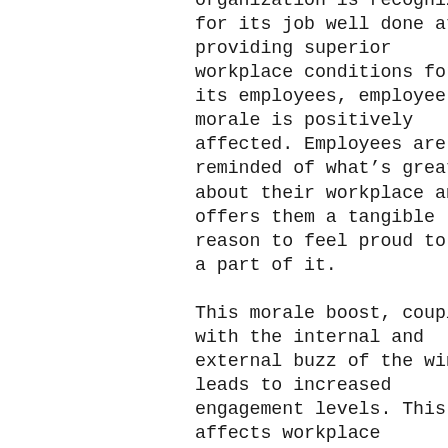organization is recognized for its job well done at providing superior workplace conditions for its employees, employee morale is positively affected. Employees are reminded of what's great about their workplace and offers them a tangible reason to feel proud to be a part of it.

This morale boost, coupled with the internal and external buzz of the win, leads to increased engagement levels. This affects workplace satisfaction, job-interest